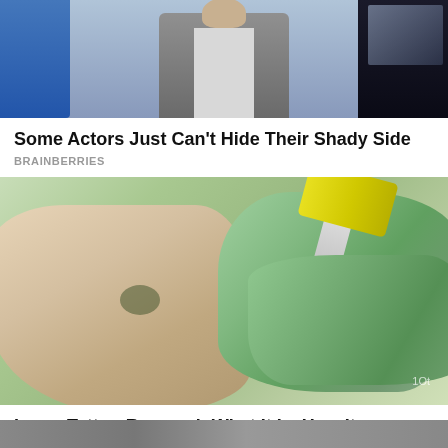[Figure (photo): Photo of a man in a suit vest standing near a dark car door, partial view]
Some Actors Just Can't Hide Their Shady Side
BRAINBERRIES
[Figure (photo): Close-up photo of a laser tattoo removal procedure on an ankle, gloved hands holding laser device]
Laser Tattoo Removal: What It Is, How It Works, Side Effects
BRAINBERRIES
[Figure (photo): Partial view of another article image at the bottom of the page, partially cut off]